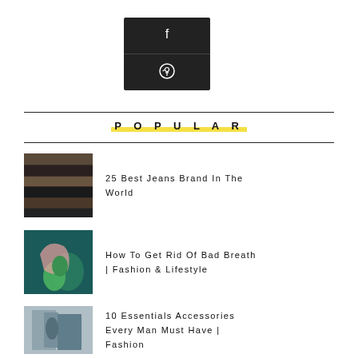[Figure (illustration): Dark social sharing buttons box with Facebook 'f' icon and Pinterest circle icon, white icons on dark/black background]
POPULAR
[Figure (photo): Stack of folded jeans in various dark colors]
25 Best Jeans Brand In The World
[Figure (illustration): Stylized illustration on teal background showing a hand holding a green character]
How To Get Rid Of Bad Breath | Fashion & Lifestyle
[Figure (photo): Man in blue denim jacket standing outdoors on a street]
10 Essentials Accessories Every Man Must Have | Fashion
[Figure (photo): Portrait of a young teen man]
6 Grooming Tips Every Teen